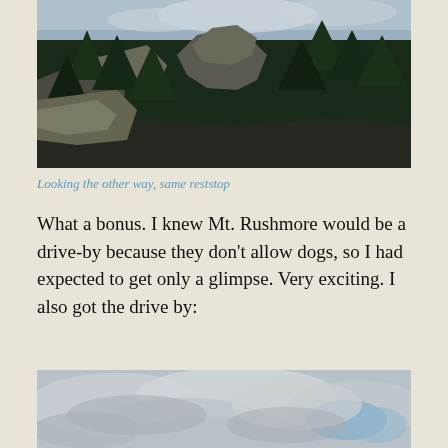[Figure (photo): Landscape photo looking through a rocky forested canyon with pine trees and rock formations, taken from a rest stop]
Looking the other way, same reststop
What a bonus. I knew Mt. Rushmore would be a drive-by because they don't allow dogs, so I had expected to get only a glimpse.  Very exciting. I also got the drive by:
[Figure (photo): Photo of cloudy sky with grey and white clouds and a patch of blue sky visible]